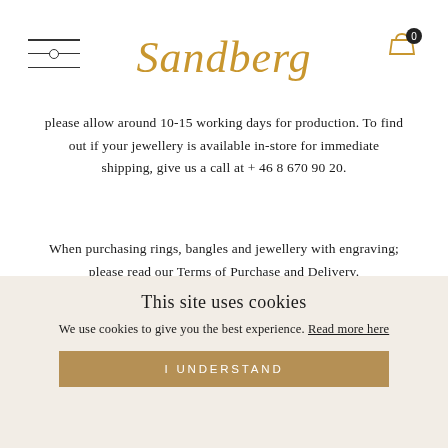Sandberg
please allow around 10-15 working days for production. To find out if your jewellery is available in-store for immediate shipping, give us a call at + 46 8 670 90 20.
When purchasing rings, bangles and jewellery with engraving; please read our Terms of Purchase and Delivery.
Description
This site uses cookies
We use cookies to give you the best experience. Read more here
I UNDERSTAND